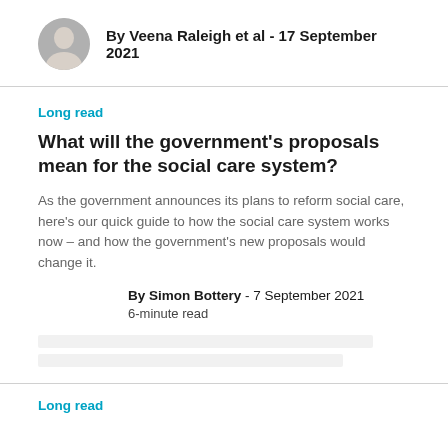By Veena Raleigh et al - 17 September 2021
Long read
What will the government's proposals mean for the social care system?
As the government announces its plans to reform social care, here's our quick guide to how the social care system works now – and how the government's new proposals would change it.
By Simon Bottery - 7 September 2021
6-minute read
Long read